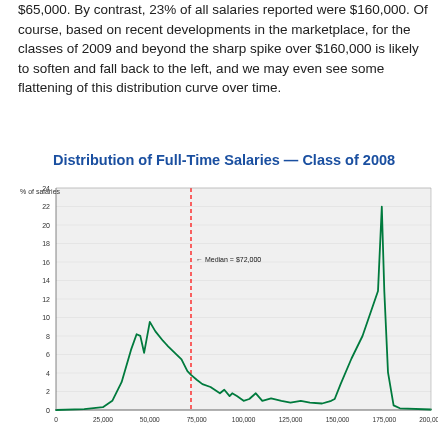$65,000. By contrast, 23% of all salaries reported were $160,000. Of course, based on recent developments in the marketplace, for the classes of 2009 and beyond the sharp spike over $160,000 is likely to soften and fall back to the left, and we may even see some flattening of this distribution curve over time.
Distribution of Full-Time Salaries — Class of 2008
[Figure (continuous-plot): A continuous distribution curve showing the distribution of full-time salaries for the Class of 2008. The curve shows a bimodal distribution with a broad hump peaking around 9.5% near $55,000-$65,000, dropping to about 3% near $75,000 (where a red dashed vertical line marks the Median = $72,000), with smaller fluctuations between $75,000-$150,000 around 1-3%, and a very sharp spike reaching approximately 23% at $160,000. The y-axis shows % of salaries from 0 to 24. The x-axis shows values from 0 to 200,000.]